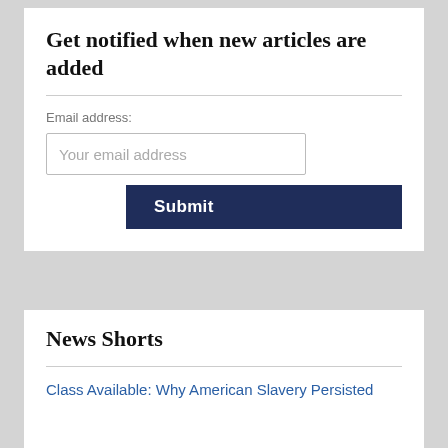Get notified when new articles are added
Email address:
Your email address
Submit
News Shorts
Class Available: Why American Slavery Persisted